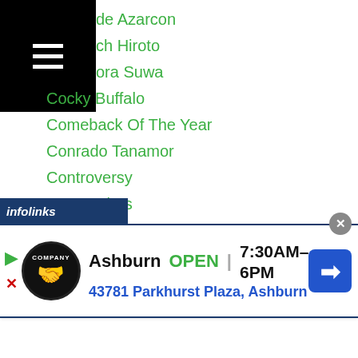de Azarcon
ch Hiroto
ora Suwa
Cocky Buffalo
Comeback Of The Year
Conrado Tanamor
Controversy
Coronavirus
Cris Ganoza
Crison Omayao
Cris Paulino
Cristiano Aoqui
Criztian Pitt Laurente
Crowdfunding
Cyborg Nawatedani
Czar Amonsot
[Figure (screenshot): Infolinks ad bar and Tire Auto shop advertisement banner showing Ashburn location, OPEN 7:30AM-6PM, 43781 Parkhurst Plaza, Ashburn]